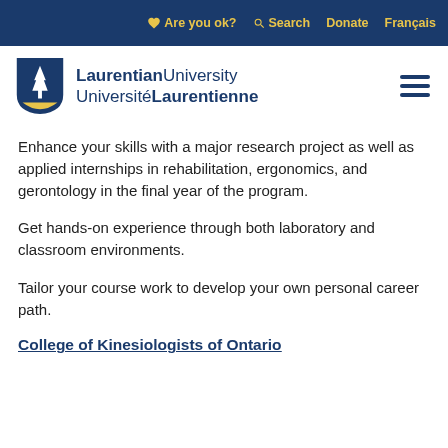Are you ok?  Search  Donate  Français
[Figure (logo): Laurentian University / Université Laurentienne shield logo with text]
Enhance your skills with a major research project as well as applied internships in rehabilitation, ergonomics, and gerontology in the final year of the program.
Get hands-on experience through both laboratory and classroom environments.
Tailor your course work to develop your own personal career path.
College of Kinesiologists of Ontario